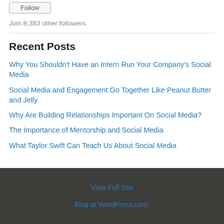Join 8,383 other followers
Recent Posts
Why You Shouldn't Have an Intern Run Your Company's Social Media
Social Media and Engagement Go Together Like Peanut Butter and Jelly
Why Are Building Relationships Important On Social Media?
The Importance of Mentorship and Social Media
What Taylor Swift Can Teach Us About Social Media
View Full Site
Blog at WordPress.com.